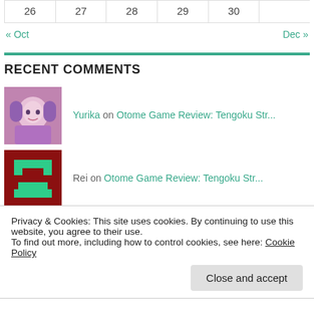| 26 | 27 | 28 | 29 | 30 |
| --- | --- | --- | --- | --- |
« Oct    Dec »
RECENT COMMENTS
Yurika on Otome Game Review: Tengoku Str...
Rei on Otome Game Review: Tengoku Str...
Bánh on Visual Novel Review: Shinigami...
Privacy & Cookies: This site uses cookies. By continuing to use this website, you agree to their use.
To find out more, including how to control cookies, see here: Cookie Policy
Close and accept